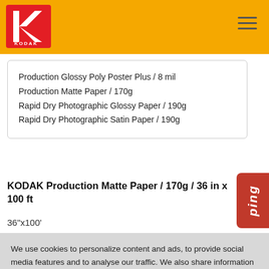KODAK
Production Glossy Poly Poster Plus / 8 mil
Production Matte Paper / 170g
Rapid Dry Photographic Glossy Paper / 190g
Rapid Dry Photographic Satin Paper / 190g
KODAK Production Matte Paper / 170g / 36 in x 100 ft
36"x100'
We use cookies to personalize content and ads, to provide social media features and to analyse our traffic. We also share information about your use of our site with our social media, advertising and analytics partners who may combine it with other information that you've provided to them or that they've collected from your use of their services. You consent to our cookies if you continue to use our website.